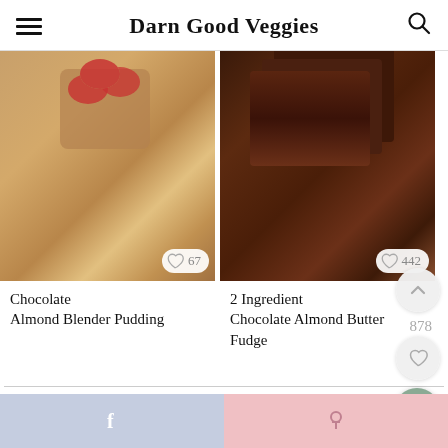Darn Good Veggies
[Figure (photo): Photo of chocolate almond blender pudding in a jar with raspberries and nuts on top]
67
Chocolate Almond Blender Pudding
[Figure (photo): Photo of 2 ingredient chocolate almond butter fudge stacked in squares]
442
2 Ingredient Chocolate Almond Butter Fudge
878
« Healthy Peanut Brittle
f   p